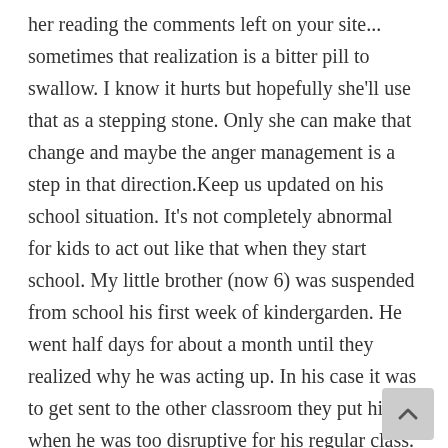her reading the comments left on your site... sometimes that realization is a bitter pill to swallow. I know it hurts but hopefully she'll use that as a stepping stone. Only she can make that change and maybe the anger management is a step in that direction.Keep us updated on his school situation. It's not completely abnormal for kids to act out like that when they start school. My little brother (now 6) was suspended from school his first week of kindergarden. He went half days for about a month until they realized why he was acting up. In his case it was to get sent to the other classroom they put him in when he was too disruptive for his regular class. Now they've made it a reward, when he's good he can go to that class. It's hard to find the balance between positive reinforcement and punishment without really crushing their spirit.